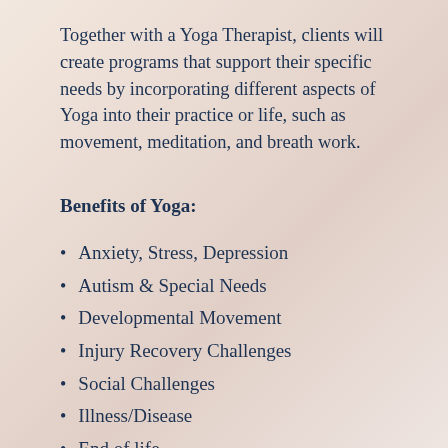Together with a Yoga Therapist, clients will create programs that support their specific needs by incorporating different aspects of Yoga into their practice or life, such as movement, meditation, and breath work.
Benefits of Yoga:
Anxiety, Stress, Depression
Autism & Special Needs
Developmental Movement
Injury Recovery Challenges
Social Challenges
Illness/Disease
End of life